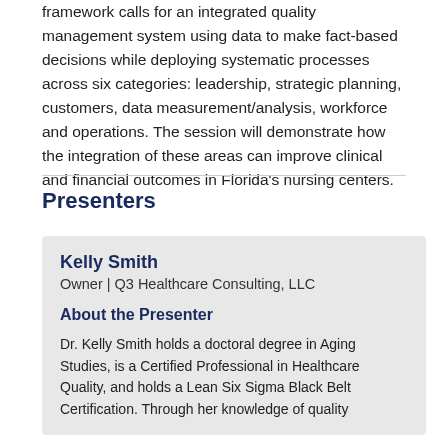framework calls for an integrated quality management system using data to make fact-based decisions while deploying systematic processes across six categories: leadership, strategic planning, customers, data measurement/analysis, workforce and operations. The session will demonstrate how the integration of these areas can improve clinical and financial outcomes in Florida's nursing centers.
Presenters
Kelly Smith
Owner | Q3 Healthcare Consulting, LLC
About the Presenter
Dr. Kelly Smith holds a doctoral degree in Aging Studies, is a Certified Professional in Healthcare Quality, and holds a Lean Six Sigma Black Belt Certification. Through her knowledge of quality